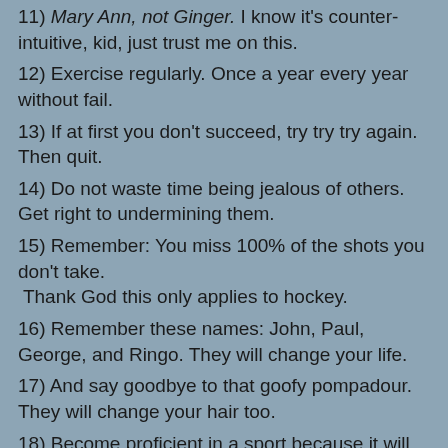11) Mary Ann, not Ginger.  I know it's counter-intuitive, kid, just trust me on this.
12) Exercise regularly. Once a year every year without fail.
13) If at first you don't succeed, try try try again.  Then quit.
14) Do not waste time being jealous of others. Get right to undermining them.
15) Remember: You miss 100% of the shots you don't take.  Thank God this only applies to hockey.
16) Remember these names: John, Paul, George, and Ringo. They will change your life.
17) And say goodbye to that goofy pompadour. They will change your hair too.
18) Become proficient in a sport because it will make you popular. I recommend curling.
19) Remember the importance of a Great Second Act in...